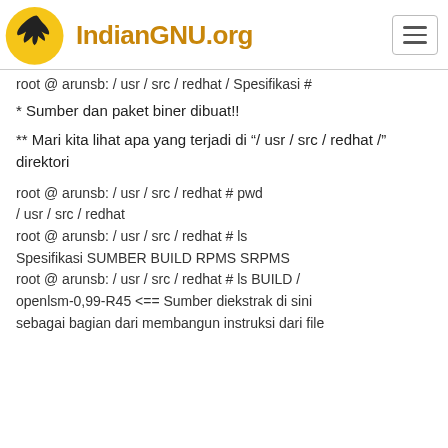IndianGNU.org
root @ arunsb: / usr / src / redhat / Spesifikasi #
* Sumber dan paket biner dibuat!!
** Mari kita lihat apa yang terjadi di “/ usr / src / redhat /” direktori
root @ arunsb: / usr / src / redhat # pwd
/ usr / src / redhat
root @ arunsb: / usr / src / redhat # ls
Spesifikasi SUMBER BUILD RPMS SRPMS
root @ arunsb: / usr / src / redhat # ls BUILD /
openlsm-0,99-R45 <== Sumber diekstrak di sini
sebagai bagian dari membangun instruksi dari file